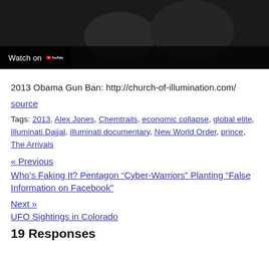[Figure (screenshot): YouTube video thumbnail showing dark/silhouette scene with 'Watch on YouTube' badge overlay]
2013 Obama Gun Ban: http://church-of-illumination.com/
source
Tags: 2013, Alex Jones, Chemtrails, economic collapse, global elite, Illuminati Dajjal, illuminati documentary, New World Order, prince, The Arrivals
« Previous
Who’s Faking It? Pentagon “Cyber-Warriors” Planting “False Information on Facebook”
Next »
UFO Sightings in Colorado
19 Responses